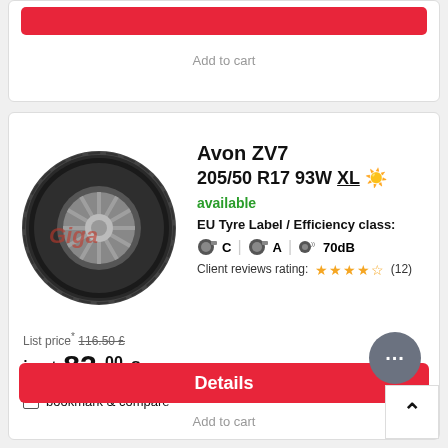Add to cart
[Figure (photo): Avon ZV7 tyre image with Giga watermark overlay]
Avon ZV7
205/50 R17 93W XL ☀
available
EU Tyre Label / Efficiency class:
C | A | 70dB
Client reviews rating: ★★★★½ (12)
List price* 116.50 £
just 82.00 £
bookmark & compare
Details
Add to cart